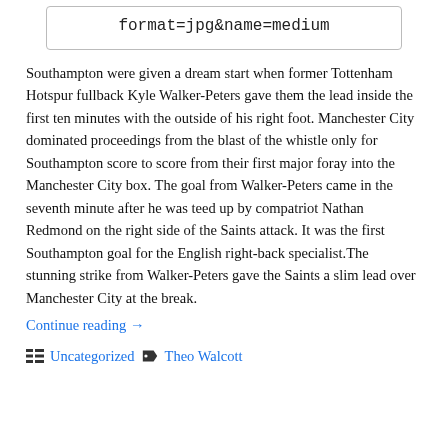[Figure (screenshot): A bordered code/URL fragment box showing: format=jpg&name=medium]
Southampton were given a dream start when former Tottenham Hotspur fullback Kyle Walker-Peters gave them the lead inside the first ten minutes with the outside of his right foot. Manchester City dominated proceedings from the blast of the whistle only for Southampton score to score from their first major foray into the Manchester City box. The goal from Walker-Peters came in the seventh minute after he was teed up by compatriot Nathan Redmond on the right side of the Saints attack. It was the first Southampton goal for the English right-back specialist.The stunning strike from Walker-Peters gave the Saints a slim lead over Manchester City at the break.
Continue reading →
Uncategorized   Theo Walcott